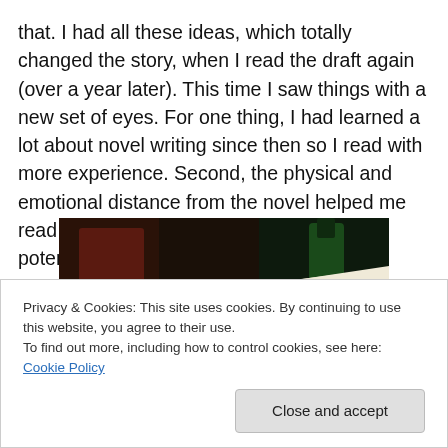that. I had all these ideas, which totally changed the story, when I read the draft again (over a year later). This time I saw things with a new set of eyes. For one thing, I had learned a lot about novel writing since then so I read with more experience. Second, the physical and emotional distance from the novel helped me read with more optimism. I saw the book's potential, not just its pitfalls.
[Figure (photo): Photo of printed manuscript pages open on a dark table, with books visible in background]
Privacy & Cookies: This site uses cookies. By continuing to use this website, you agree to their use.
To find out more, including how to control cookies, see here: Cookie Policy